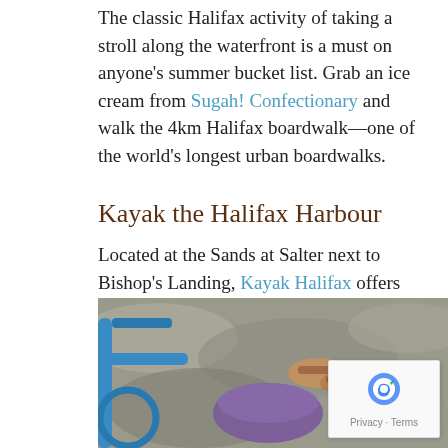The classic Halifax activity of taking a stroll along the waterfront is a must on anyone's summer bucket list. Grab an ice cream from Sugah! Confectionary and walk the 4km Halifax boardwalk—one of the world's longest urban boardwalks.
Kayak the Halifax Harbour
Located at the Sands at Salter next to Bishop's Landing, Kayak Halifax offers guided tours of the Halifax Harbour. Until October 18th, take a 2-hour excursion around the harbour to see Halifax in a way you've never seen it before.
Bike to Point Pleasant Park for a Picnic
[Figure (photo): Close-up photo of a blue bicycle with a person's feet/sandals visible and a purple item (possibly a bike basket or bag), taken from above near rocky ground.]